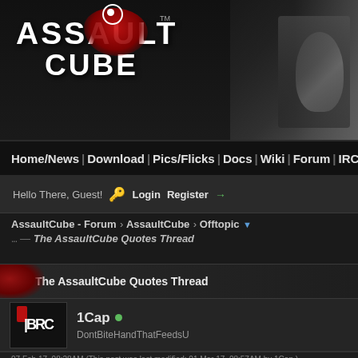[Figure (screenshot): AssaultCube website header with logo (ASSAULT CUBE text with red splat graphic and icon), dark background with game imagery on right]
Home/News | Download | Pics/Flicks | Docs | Wiki | Forum | IRC | D
Hello There, Guest! 🔑 Login  Register →
AssaultCube - Forum › AssaultCube › Offtopic ▼
... The AssaultCube Quotes Thread
The AssaultCube Quotes Thread
1Cap • DontBiteHandThatFeedsU
07 Feb 17, 08:28AM (This post was last modified: 01 Mar 17, 08:57AM by 1Cap.)
Quote:
Removed because old... sry thxs